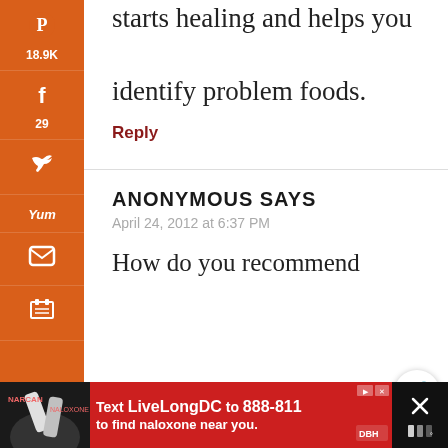starts healing and helps you identify problem foods.
Reply
ANONYMOUS SAYS
April 24, 2012 at 6:37 PM
How do you recommend
[Figure (infographic): Vertical orange social sharing sidebar with Pinterest (18.9K), Facebook (29), Twitter, Yummly, Email, and Print icons. Bottom shows 19.0K SHARES total.]
[Figure (infographic): Advertisement banner at bottom: red background with text 'Text LiveLongDC to 888-811 to find naloxone near you.' with DBH logo. Black area on right with close X button.]